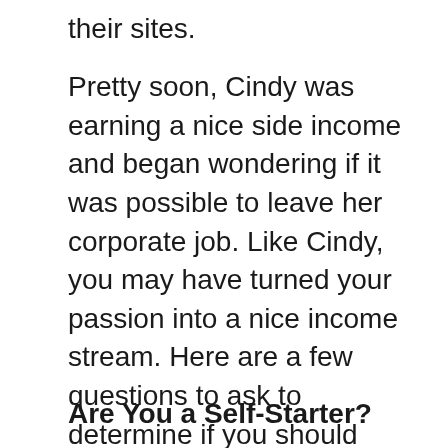their sites.
Pretty soon, Cindy was earning a nice side income and began wondering if it was possible to leave her corporate job. Like Cindy, you may have turned your passion into a nice income stream. Here are a few questions to ask to determine if you should turn your side hustle into a career…
Are You a Self-Starter?